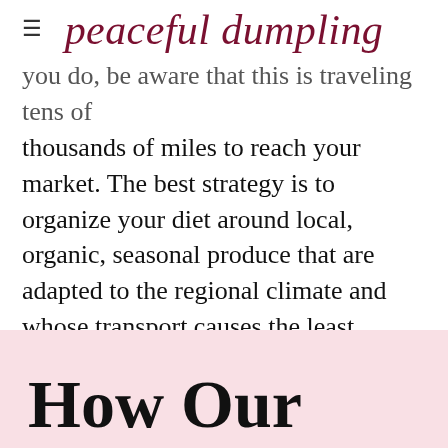peaceful dumpling
you do, be aware that this is traveling tens of thousands of miles to reach your market. The best strategy is to organize your diet around local, organic, seasonal produce that are adapted to the regional climate and whose transport causes the least impact. And finally, refrain from fetishizing the avocado on social media because our culture shapes our behavior, and our behavior shapes the environment.
How Our